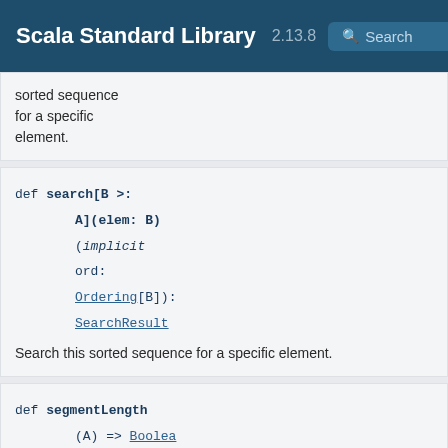Scala Standard Library 2.13.8 Search
sorted sequence for a specific element.
def search[B >: A](elem: B)(implicit ord: Ordering[B]): SearchResult
Search this sorted sequence for a specific element.
def segmentLength((A) => Boolean, from: Int): I
Computes the length of the longest segment that starts from some index whose elements a...